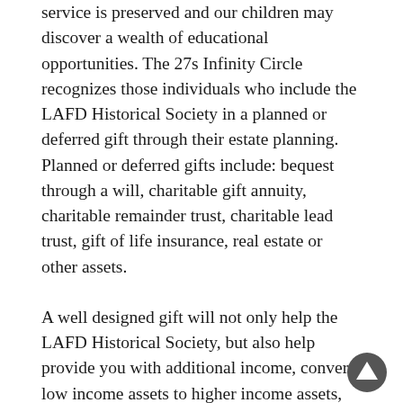service is preserved and our children may discover a wealth of educational opportunities. The 27s Infinity Circle recognizes those individuals who include the LAFD Historical Society in a planned or deferred gift through their estate planning. Planned or deferred gifts include: bequest through a will, charitable gift annuity, charitable remainder trust, charitable lead trust, gift of life insurance, real estate or other assets.
A well designed gift will not only help the LAFD Historical Society, but also help provide you with additional income, convert low income assets to higher income assets, help care for your survivors, avoid long-term capital gains